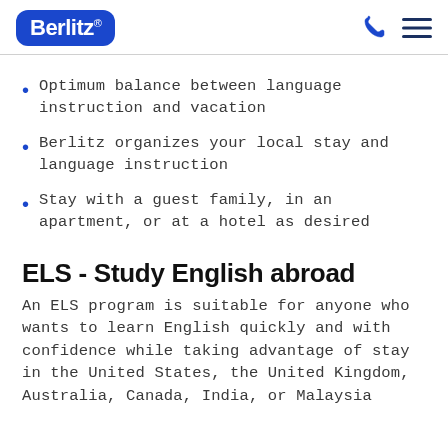Berlitz
Optimum balance between language instruction and vacation
Berlitz organizes your local stay and language instruction
Stay with a guest family, in an apartment, or at a hotel as desired
ELS - Study English abroad
An ELS program is suitable for anyone who wants to learn English quickly and with confidence while taking advantage of stay in the United States, the United Kingdom, Australia, Canada, India, or Malaysia